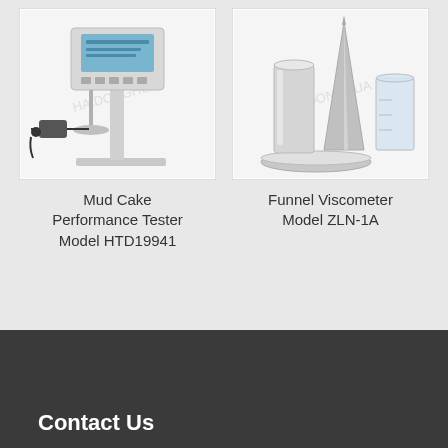[Figure (photo): Mud Cake Performance Tester Model HTD19941 - laboratory instrument on a stand with digital display and connected power adapter]
Mud Cake Performance Tester Model HTD19941
[Figure (photo): Funnel Viscometer Model ZLN-1A - metallic funnel viscometer with cylindrical vessel and conical tip, shown with a circular tray]
Funnel Viscometer Model ZLN-1A
Contact Us